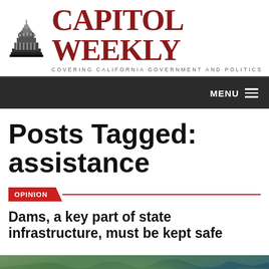[Figure (logo): Capitol Weekly logo with capitol building dome icon and red serif wordmark 'CAPITOL WEEKLY' with tagline 'COVERING CALIFORNIA GOVERNMENT AND POLITICS']
MENU
Posts Tagged: assistance
OPINION
Dams, a key part of state infrastructure, must be kept safe
[Figure (photo): Aerial photograph of a dam and surrounding landscape with water and rocky terrain]